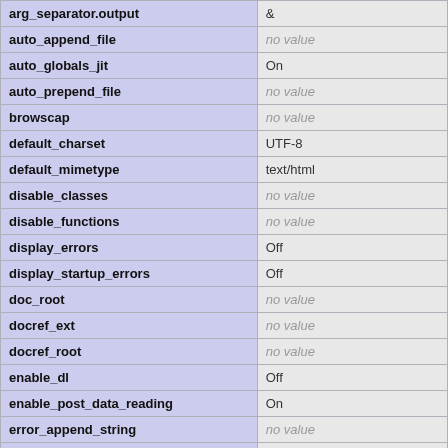| Directive | Value |
| --- | --- |
| arg_separator.output | & |
| auto_append_file | no value |
| auto_globals_jit | On |
| auto_prepend_file | no value |
| browscap | no value |
| default_charset | UTF-8 |
| default_mimetype | text/html |
| disable_classes | no value |
| disable_functions | no value |
| display_errors | Off |
| display_startup_errors | Off |
| doc_root | no value |
| docref_ext | no value |
| docref_root | no value |
| enable_dl | Off |
| enable_post_data_reading | On |
| error_append_string | no value |
| error_log | /var/log/php_errors.log |
| error_prepend_string | no value |